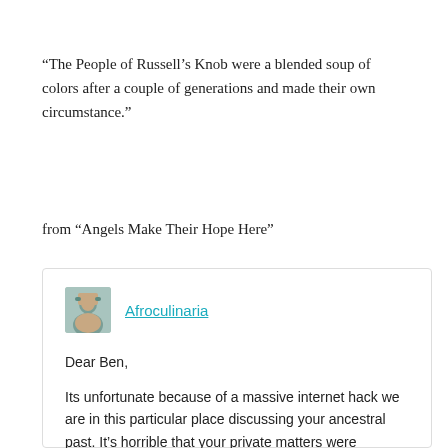“The People of Russell’s Knob were a blended soup of colors after a couple of generations and made their own circumstance.”
from “Angels Make Their Hope Here”
Afroculinaria

Dear Ben,

Its unfortunate because of a massive internet hack we are in this particular place discussing your ancestral past. It’s horrible that your private matters were exposed because of something beyond your control. That's untenable in any situation, but we need to address something right quick…this slavery thing.  You were embarassed, and that’s reasonable given the